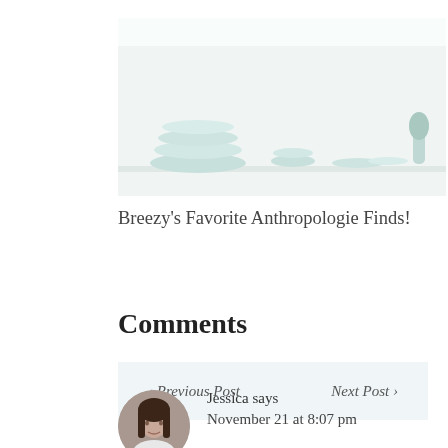[Figure (photo): Photo of white/mint ceramic bowls and dishes arranged on a white shelf against a light background]
Breezy's Favorite Anthropologie Finds!
< Previous Post    Next Post >
Comments
[Figure (photo): Circular avatar photo of a woman with long dark hair wearing a white top]
Jessica says
November 21 at 8:07 pm